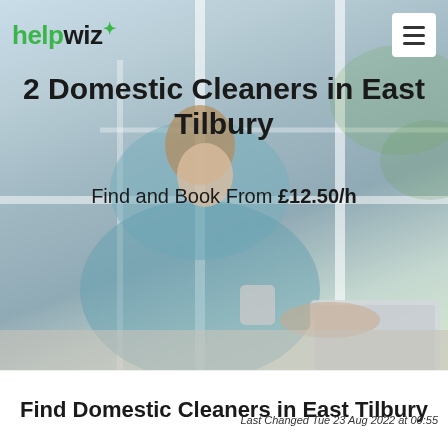helpwiz
2 Domestic Cleaners in East Tilbury
Find and Book From £12.50/h
[Figure (photo): Woman sitting cross-legged on a windowsill using a laptop, with bright natural light from window behind her]
Last Changed Tue 23 Aug 2022 at 00:55
Find Domestic Cleaners in East Tilbury